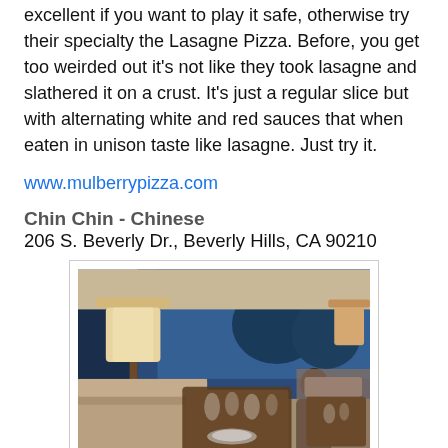excellent if you want to play it safe, otherwise try their specialty the Lasagne Pizza. Before, you get too weirded out it's not like they took lasagne and slathered it on a crust. It's just a regular slice but with alternating white and red sauces that when eaten in unison taste like lasagne. Just try it.
www.mulberrypizza.com
Chin Chin - Chinese
206 S. Beverly Dr., Beverly Hills, CA 90210
[Figure (photo): Interior of a upscale restaurant dining room with soft lighting, table lamps with tan shades, beige upholstered booth seating, wooden tables set with glassware, and large windows with a blue-lit exterior view.]
They call it their "Famous Chinese Chicken Salad" for a